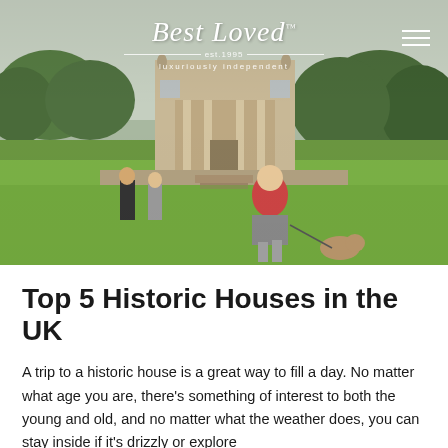[Figure (photo): Hero photo showing a child in a striped hoodie running with a small terrier dog on a leash across a green lawn in front of a historic stone manor house. Two adults walk hand-in-hand in the background. A Best Loved logo with 'est 1995' and 'luxuriously independent' tagline is overlaid at the top center, with a hamburger menu icon in the top right corner.]
Top 5 Historic Houses in the UK
A trip to a historic house is a great way to fill a day. No matter what age you are, there's something of interest to both the young and old, and no matter what the weather does, you can stay inside if it's drizzly or explore